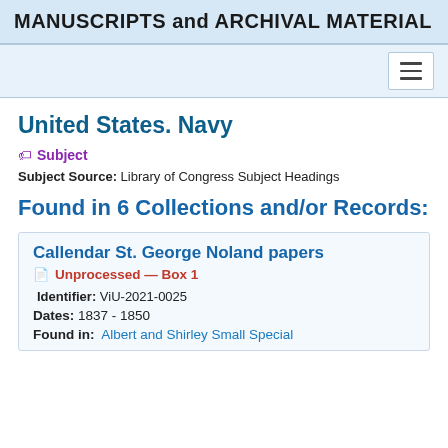MANUSCRIPTS and ARCHIVAL MATERIAL
United States. Navy
Subject
Subject Source: Library of Congress Subject Headings
Found in 6 Collections and/or Records:
Callendar St. George Noland papers
Unprocessed — Box 1
Identifier: ViU-2021-0025
Dates: 1837 - 1850
Found in: Albert and Shirley Small Special